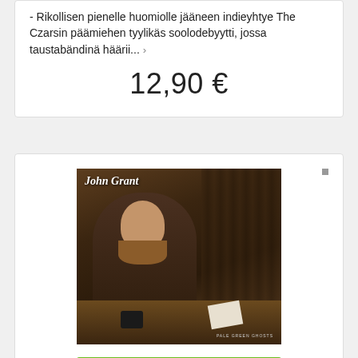- Rikollisen pienelle huomiolle jääneen indieyhtye The Czarsin päämiehen tyylikäs soolodebyytti, jossa taustabändinä häärii… ›
12,90 €
[Figure (photo): Album cover for John Grant - Pale Green Ghosts. A bearded man in a dark suit sits at a wooden table in a dimly lit interior, holding a cup, with a book on the table. The artist name 'John Grant' is written in white script at the top left, and 'PALE GREEN GHOSTS' appears in small text at the bottom right.]
KATSO
OSTA